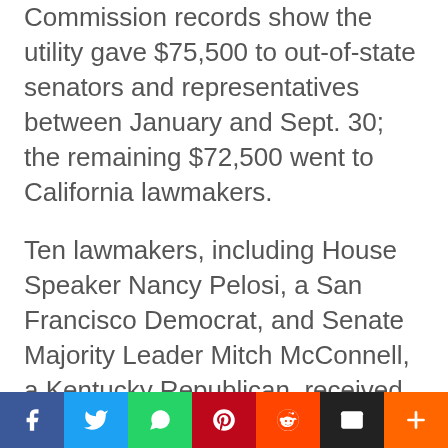Commission records show the utility gave $75,500 to out-of-state senators and representatives between January and Sept. 30; the remaining $72,500 went to California lawmakers.
Ten lawmakers, including House Speaker Nancy Pelosi, a San Francisco Democrat, and Senate Majority Leader Mitch McConnell, a Kentucky Republican, received the maximum $5,000 from the utility's PAC. House Minority Leader Kevin McCarthy, a Bakersfield Republican, also received a $5,000 contribution.
The seven other legislators who received the
[Figure (other): Social media sharing bar with icons for Facebook, Twitter, WhatsApp, Pinterest, Reddit, Email, and a plus button]